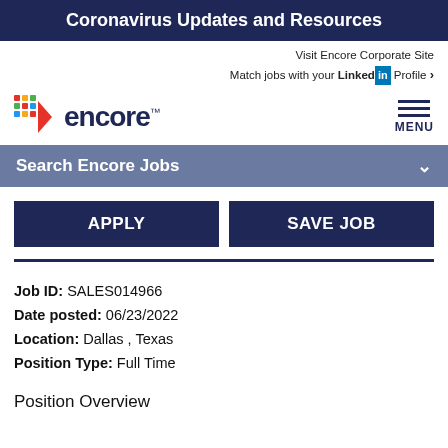Coronavirus Updates and Resources
Visit Encore Corporate Site
Match jobs with your LinkedIn Profile >
[Figure (logo): Encore logo with colorful dot grid and arrow pointing right, company name 'encore' in dark blue with trademark symbol]
MENU
Search Encore Jobs
APPLY
SAVE JOB
Job ID: SALES014966
Date posted: 06/23/2022
Location: Dallas , Texas
Position Type: Full Time
Position Overview